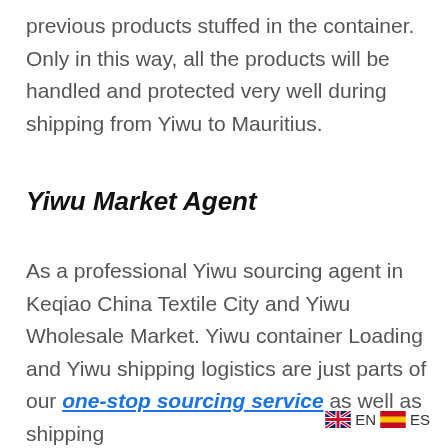previous products stuffed in the container. Only in this way, all the products will be handled and protected very well during shipping from Yiwu to Mauritius.
Yiwu Market Agent
As a professional Yiwu sourcing agent in Keqiao China Textile City and Yiwu Wholesale Market. Yiwu container Loading and Yiwu shipping logistics are just parts of our one-stop sourcing service as well as shipping from Yiwu to Romania. Also in the last